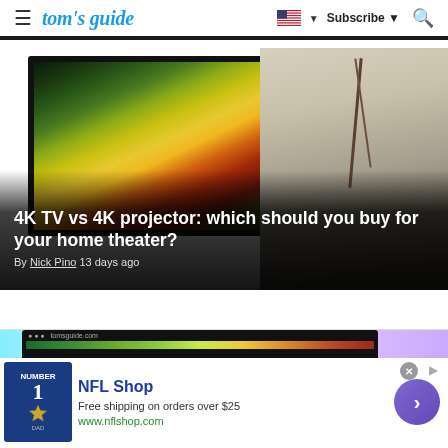tom's guide | Subscribe | Search
[Figure (photo): Hero image showing a TV screen displaying colorful art (storm/landscape painting) on the left, and a person painting at an easel in a room on the right. Overlaid text reads: 4K TV vs 4K projector: which should you buy for your home theater? By Nick Pino 13 days ago]
4K TV vs 4K projector: which should you buy for your home theater?
By Nick Pino 13 days ago
[Figure (screenshot): Advertisement banner for NFL Shop. Shows a dark device/laptop at top, a navy blue NFL jersey with number 1 and a Dallas Cowboys star on the left, text reading NFL Shop, Free shipping on orders over $25, www.nflshop.com, and a purple arrow button on the right.]